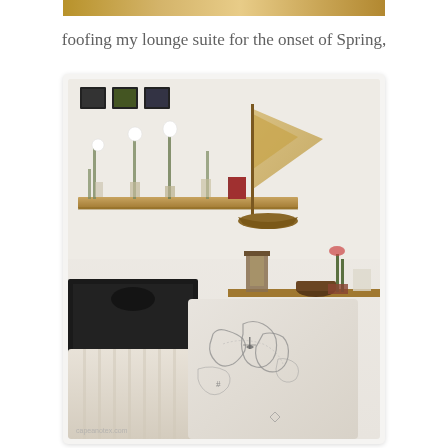[Figure (photo): Partial image strip at the top of the page, partially cropped warm-toned photo]
foofing my lounge suite for the onset of Spring,
[Figure (photo): Interior room photo showing a lounge with a cream striped sofa, a decorative cushion with a map print, a wooden shelf with white roses and green stems in vases, a decorative sailboat model on the wall, a lantern, and various coastal-themed accessories. A watermark reads capeanotex.com at the bottom left.]